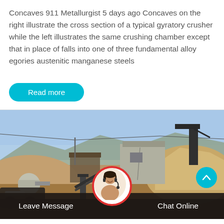Concaves 911 Metallurgist 5 days ago Concaves on the right illustrate the cross section of a typical gyratory crusher while the left illustrates the same crushing chamber except that in place of falls into one of three fundamental alloy egories austenitic manganese steels
[Figure (other): Read more button — cyan/teal rounded pill button with white text]
[Figure (photo): Industrial mining or crushing site with machinery, rock piles, concrete structures, and blue sky. Bottom bar shows Leave Message and Chat Online buttons with a customer service avatar in the center.]